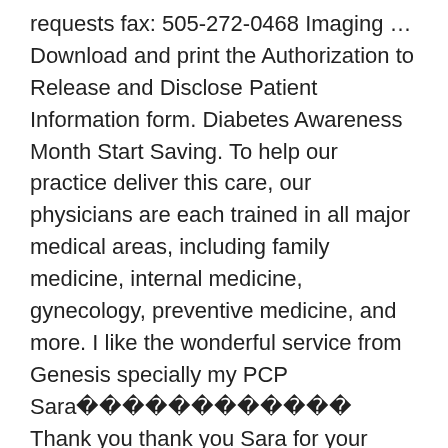requests fax: 505-272-0468 Imaging … Download and print the Authorization to Release and Disclose Patient Information form. Diabetes Awareness Month Start Saving. To help our practice deliver this care, our physicians are each trained in all major medical areas, including family medicine, internal medicine, gynecology, preventive medicine, and more. I like the wonderful service from Genesis specially my PCP Sara🌍🌋🌍🌋🌍🌋 Thank you thank you Sara for your professional work and your beautiful care to your patient. In 1995, six individual physician medical practices joined together to form Genesis Medical Associates, Inc. Today, Genesis has grown to include 9 physician practices with 11 locations and 20 primary care physicians. Whether you are a long-time member of the Genesis family, or you’re looking for a new care provider in the Pittsburgh area, we invite you to